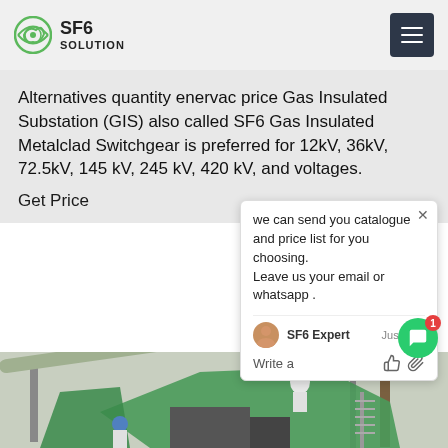SF6 SOLUTION
Alternatives quantity enervac price Gas Insulated Substation (GIS) also called SF6 Gas Insulated Metalclad Switchgear is preferred for 12kV, 36kV, 72.5kV, 145 kV, 245 kV, 420 kV, and voltages.
Get Price
we can send you catalogue and price list for you choosing.
Leave us your email or whatsapp .
SF6 Expert   just now
Write a
[Figure (photo): Workers in white protective suits working on large industrial electrical substation equipment, with green tarp/covers draped over machinery. Metal structures, pipes, and transmission towers visible in background.]